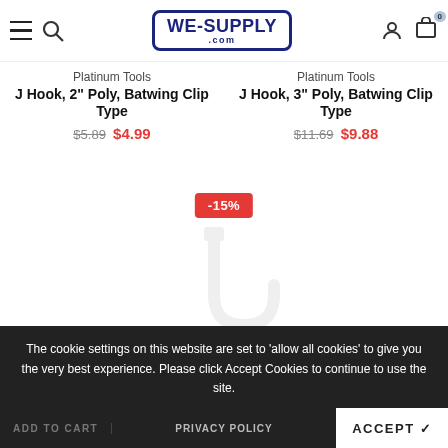WE-SUPPLY.com navigation header
Platinum Tools
J Hook, 2" Poly, Batwing Clip Type
$5.89  $4.99
Platinum Tools
J Hook, 3" Poly, Batwing Clip Type
$11.69  $9.88
[Figure (other): Product image placeholder with -15% discount badge]
The cookie settings on this website are set to 'allow all cookies' to give you the very best experience. Please click Accept Cookies to continue to use the site.
PRIVACY POLICY
ACCEPT ✓
ADD TO CART